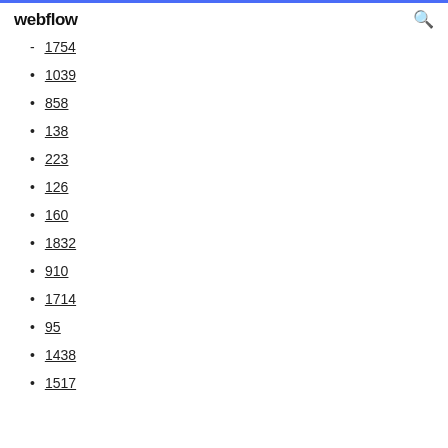webflow
1754
1039
858
138
223
126
160
1832
910
1714
95
1438
1517